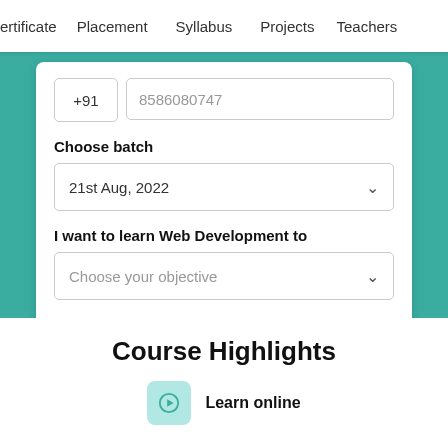ertificate   Placement   Syllabus   Projects   Teachers
+91   8586080747
Choose batch
21st Aug, 2022
I want to learn Web Development to
Choose your objective
₹1349  ₹4499  Valid till 24th Aug
Enroll Now
Course Highlights
Learn online